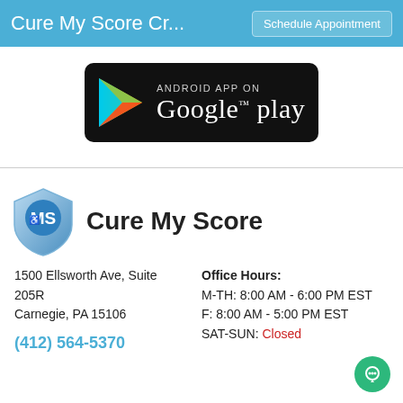Cure My Score Cr...    Schedule Appointment
[Figure (logo): Android App on Google Play badge — black rounded rectangle with Google Play triangle logo and text 'ANDROID APP ON Google play']
[Figure (logo): Cure My Score shield logo with CMS initials in blue, alongside company name 'Cure My Score']
1500 Ellsworth Ave, Suite 205R
Carnegie, PA 15106
(412) 564-5370
Office Hours:
M-TH: 8:00 AM - 6:00 PM EST
F: 8:00 AM - 5:00 PM EST
SAT-SUN: Closed